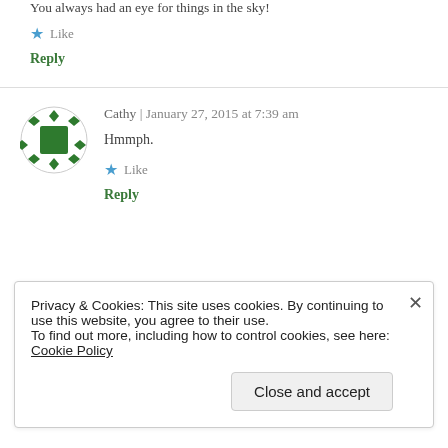You always had an eye for things in the sky!
★ Like
Reply
[Figure (illustration): Circular avatar with green square and decorative green diamond border on white background]
Cathy | January 27, 2015 at 7:39 am
Hmmph.
★ Like
Reply
Privacy & Cookies: This site uses cookies. By continuing to use this website, you agree to their use.
To find out more, including how to control cookies, see here: Cookie Policy
Close and accept